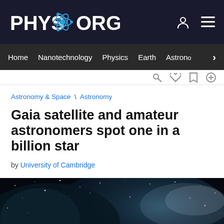PHYS.ORG
Home | Nanotechnology | Physics | Earth | Astronomy >
Astronomy & Space \ Astronomy
Gaia satellite and amateur astronomers spot one in a billion star
by University of Cambridge
[Figure (photo): Space scene showing stars, nebula, and a glowing orange/yellow star or planet against a dark cosmic background.]